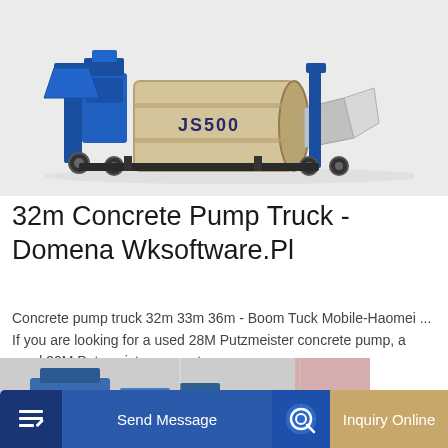[Figure (photo): Industrial concrete mixer machine labeled JS500, blue metal frame with large horizontal drum, on a white/grey background]
32m Concrete Pump Truck - Domena Wksoftware.Pl
Concrete pump truck 32m 33m 36m - Boom Tuck Mobile-Haomei ... If you are looking for a used 28M Putzmeister concrete pump, a used 32M Putzmeister concrete ...
Learn More
[Figure (photo): Partially visible photo of industrial machinery or construction equipment at bottom of page]
Send Message
Inquiry Online